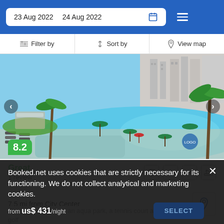23 Aug 2022   24 Aug 2022
Filter by   Sort by   View map
[Figure (photo): Aerial view of a resort hotel with large outdoor swimming pool, palm trees, lounge chairs and umbrellas]
8.2
Great
1 review
7.5 mi from City Center
The property boasts an aqua park, a tennis court and a golf
Booked.net uses cookies that are strictly necessary for its functioning. We do not collect analytical and marketing cookies.
from us$ 431/night
SELECT